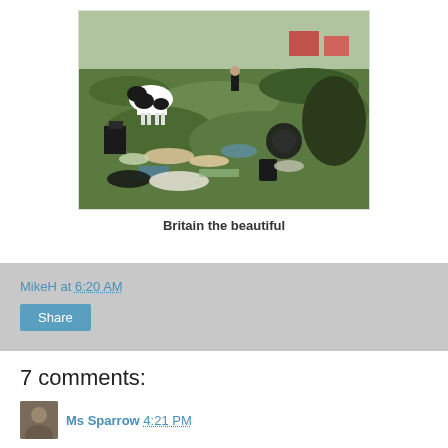[Figure (photo): Outdoor scene showing a field with rubbish/litter scattered on grass, a black and white horse on the left, a person in the background, and buildings visible in the distance. The foreground shows various pieces of waste including plastic bags, containers, and debris among green grass.]
Britain the beautiful
MikeH at 6:20 AM
Share
7 comments:
Ms Sparrow 4:21 PM